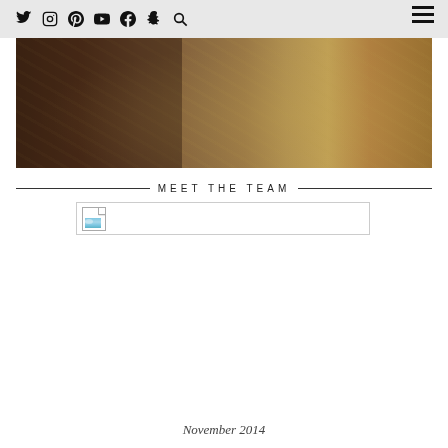Social media icons: Twitter, Instagram, Pinterest, YouTube, Facebook, Snapchat, Search, Hamburger menu
[Figure (photo): Close-up photograph of ornate gold embroidered fabric with sequins and beadwork in a paisley pattern, dark brown and gold tones]
MEET THE TEAM
[Figure (photo): Broken/unloaded image placeholder with small image icon on left side]
November 2014